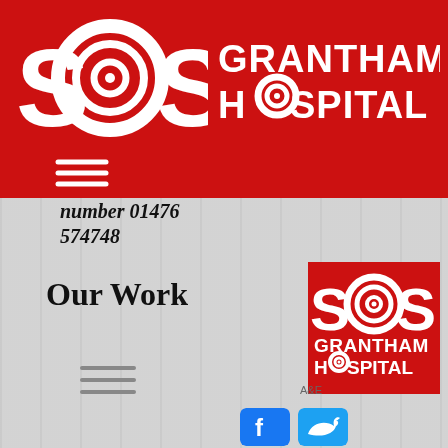[Figure (logo): SOS Grantham Hospital logo on red background banner - top header area with large SOS letters and target circles, plus GRANTHAM HOSPITAL text in white]
[Figure (infographic): Hamburger/menu icon (three horizontal lines) in white on red background]
number 01476 574748
Our Work
[Figure (infographic): Hamburger/menu icon (three horizontal lines) in grey]
[Figure (logo): SOS Grantham Hospital logo on red square background - white SOS letters with target circles and GRANTHAM HOSPITAL text below]
[Figure (infographic): Facebook and Twitter social media icons (blue square buttons with f and bird icons)]